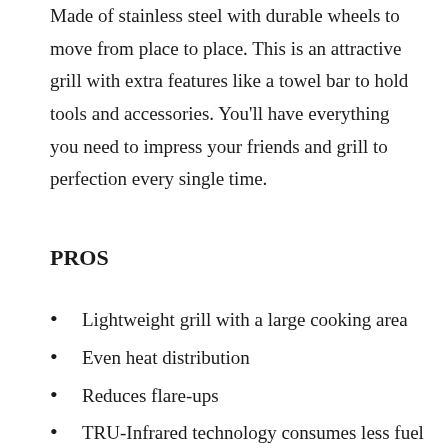Made of stainless steel with durable wheels to move from place to place. This is an attractive grill with extra features like a towel bar to hold tools and accessories. You'll have everything you need to impress your friends and grill to perfection every single time.
PROS
Lightweight grill with a large cooking area
Even heat distribution
Reduces flare-ups
TRU-Infrared technology consumes less fuel